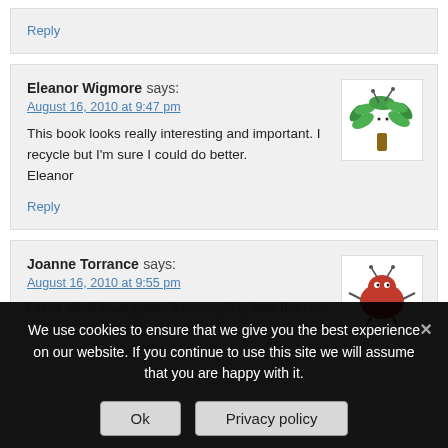Reply
Eleanor Wigmore says:
August 16, 2010 at 9:47 pm
This book looks really interesting and important. I recycle but I'm sure I could do better.
Eleanor
Reply
[Figure (illustration): Cartoon green alien tree creature with antennae and splayed branches as arms on white background]
Joanne Torrance says:
August 16, 2010 at 9:55 pm
[Figure (illustration): Cartoon red round bug creature with small arms on white background]
We use cookies to ensure that we give you the best experience on our website. If you continue to use this site we will assume that you are happy with it.
Ok
Privacy policy